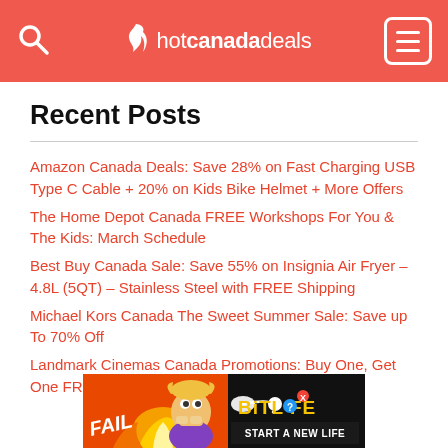hotcanadadeals
Recent Posts
Amazon Canada Deals: Save 28% on Fast Charging USB Type C Cable + 20% on Kids Bike Helmet + More Offers
The Home Depot Canada FREE Workshops For You & The Kids: March Schedule
Best Buy Canada Sale: Save 55% on Insignia Air Fryer – 4.8L (5QT) – Stainless Steel with FREE Shipping
Michael Kors Canada The Sweet Summer Sale: Save up To 70% Off
Landmark Cinemas Canada Promotions: Buy One, Get One FREE Movie Tickets Using Coupon Code
[Figure (screenshot): BitLife advertisement banner — 'FAIL START A NEW LIFE' with cartoon character and flame imagery on dark red/orange background]